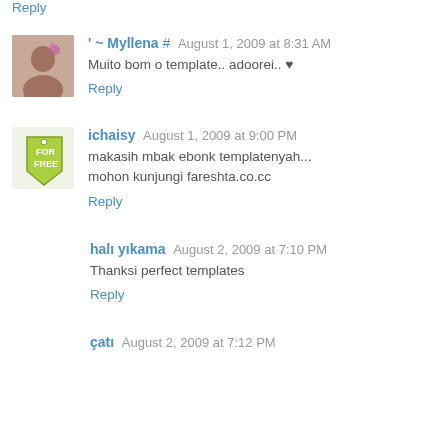Reply
' ~ Myllena # August 1, 2009 at 8:31 AM
Muito bom o template.. adoorei.. ♥
Reply
ichaisy August 1, 2009 at 9:00 PM
makasih mbak ebonk templatenyah...
mohon kunjungi fareshta.co.cc
Reply
halı yıkama August 2, 2009 at 7:10 PM
Thanksi perfect templates
Reply
çatı August 2, 2009 at 7:12 PM